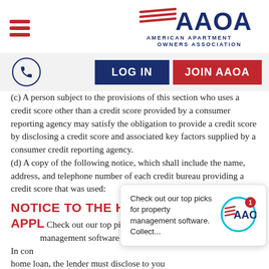AAOA - American Apartment Owners Association
(c) A person subject to the provisions of this section who uses a credit score other than a credit score provided by a consumer reporting agency may satisfy the obligation to provide a credit score by disclosing a credit score and associated key factors supplied by a consumer credit reporting agency.
(d) A copy of the following notice, which shall include the name, address, and telephone number of each credit bureau providing a credit score that was used:
NOTICE TO THE HOME LOAN
APPLICANT
In connection with your application for a home loan, the lender must disclose to you the score that a credit bureau distributed to
Check out our top picks for property management software. Collect...